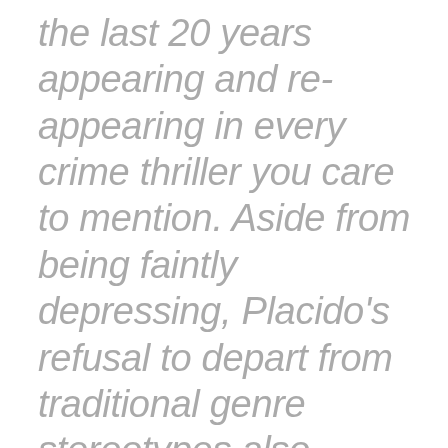the last 20 years appearing and re-appearing in every crime thriller you care to mention. Aside from being faintly depressing, Placido's refusal to depart from traditional genre stereotypes also serves to weaken his treatment of Vallanzasca